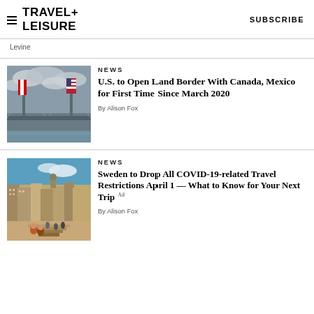TRAVEL+ LEISURE  SUBSCRIBE
Levine
NEWS
U.S. to Open Land Border With Canada, Mexico for First Time Since March 2020
[Figure (photo): Bridge with Canadian and American flags against cloudy sky]
By Alison Fox
NEWS
Sweden to Drop All COVID-19-related Travel Restrictions April 1 — What to Know for Your Next Trip
[Figure (photo): People sitting on stone steps in a European city square]
By Alison Fox